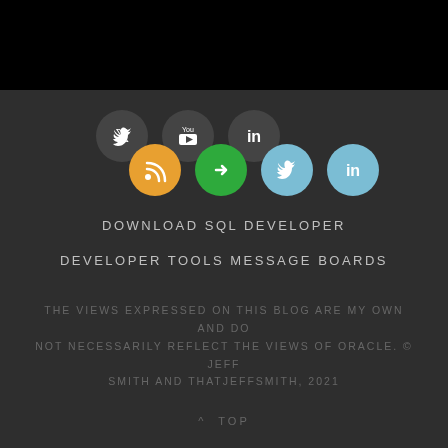[Figure (infographic): Row of social media icon circles: Twitter (dark), YouTube (dark), LinkedIn (dark) on top row; RSS (orange), Share/redirect (green), Twitter (light blue), LinkedIn (light blue) on bottom row]
DOWNLOAD SQL DEVELOPER
DEVELOPER TOOLS MESSAGE BOARDS
THE VIEWS EXPRESSED ON THIS BLOG ARE MY OWN AND DO NOT NECESSARILY REFLECT THE VIEWS OF ORACLE. © JEFF SMITH AND THATJEFFSMITH, 2021
^ TOP